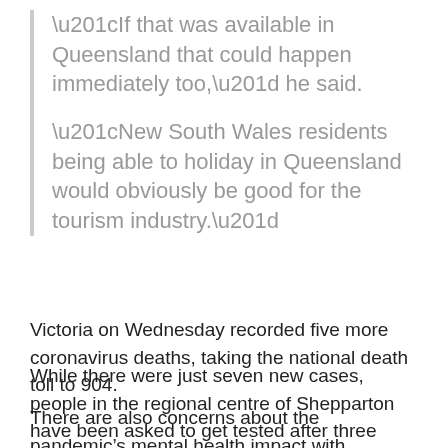“If that was available in Queensland that could happen immediately too,” he said.
“New South Wales residents being able to holiday in Queensland would obviously be good for the tourism industry.”
Victoria on Wednesday recorded five more coronavirus deaths, taking the national death toll to 904.
While there were just seven new cases, people in the regional centre of Shepparton have been asked to get tested after three infections emerged there.
There are also concerns about the pandemic’s mental health impact with Australians increasingly